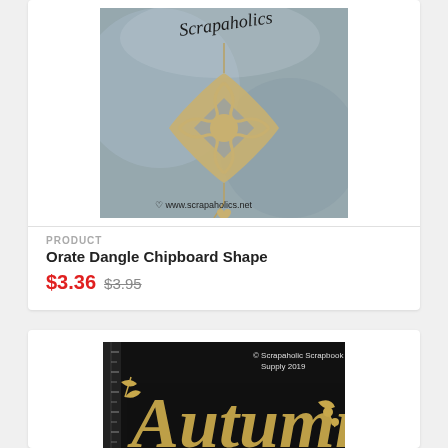[Figure (photo): Photo of an ornate dangle chipboard shape from Scrapaholics brand, showing a decorative laser-cut wooden piece with swirls and hearts on a blue-grey background. Website: www.scrapaholics.net]
PRODUCT
Orate Dangle Chipboard Shape
$3.36 $3.95
[Figure (photo): Photo of an 'Autumn' chipboard word with decorative leaves and vines, laser-cut wooden shape on black background with ruler. © Scrapaholic Scrapbook Supply 2019]